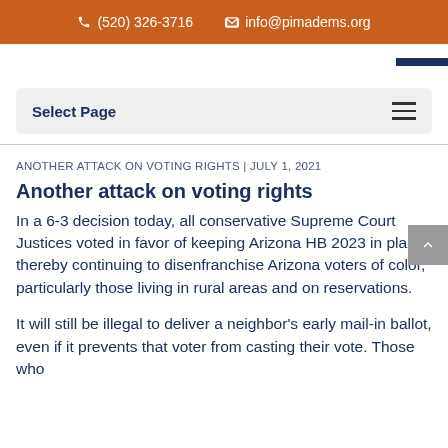(520) 326-3716   info@pimadems.org
Select Page
ANOTHER ATTACK ON VOTING RIGHTS | JULY 1, 2021
Another attack on voting rights
In a 6-3 decision today, all conservative Supreme Court Justices voted in favor of keeping Arizona HB 2023 in place, thereby continuing to disenfranchise Arizona voters of color, particularly those living in rural areas and on reservations.
It will still be illegal to deliver a neighbor's early mail-in ballot, even if it prevents that voter from casting their vote. Those who